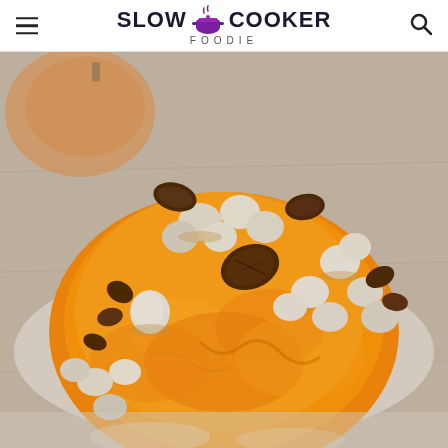SLOW COOKER FOODIE
[Figure (photo): Close-up photo of slow cooker sweet potato casserole topped with toasted marshmallows and pecans, served on a plate. Background shows blurred orange pumpkin on a wooden surface.]